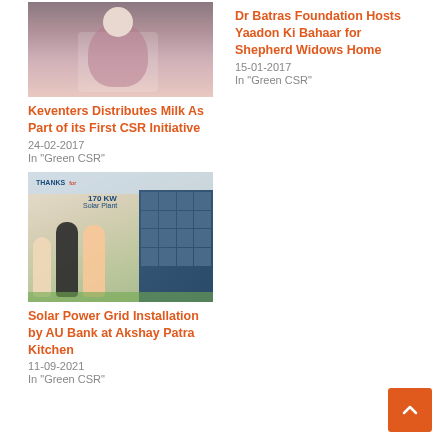[Figure (photo): Photo of people, one holding a bag, related to Keventers milk CSR initiative]
Keventers Distributes Milk As Part of its First CSR Initiative
24-02-2017
In "Green CSR"
Dr Batras Foundation Hosts Yaadon Ki Bahaar for Shepherd Widows Home
15-01-2017
In "Green CSR"
[Figure (photo): Photo of people holding a solar panel in front of a banner mentioning 170 KW Solar Plant]
Solar Power Grid Installation by AU Bank at Akshay Patra Kitchen
11-09-2021
In "Green CSR"